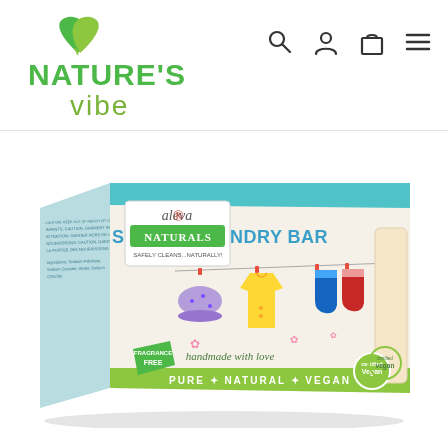[Figure (logo): Nature's Vibe logo with green leaf icon and text]
[Figure (screenshot): Navigation icons: search, user account, shopping bag, hamburger menu]
[Figure (photo): Aleva Naturals Stain & Laundry Bar product box. Box shows clothesline with baby clothes, Fragrance Free badge, handmade with love text, Pure Natural Vegan tagline. Box side shows ingredients text.]